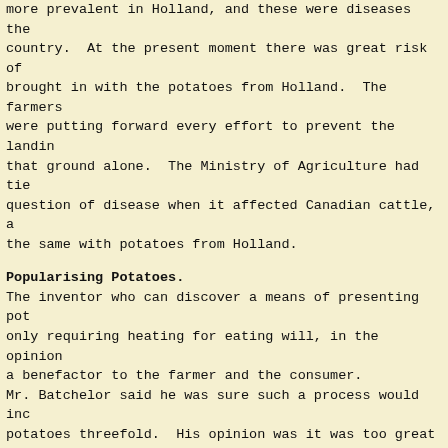more prevalent in Holland, and these were diseases they country. At the present moment there was great risk of brought in with the potatoes from Holland. The farmers were putting forward every effort to prevent the landin that ground alone. The Ministry of Agriculture had tie question of disease when it affected Canadian cattle, a the same with potatoes from Holland.
Popularising Potatoes.
The inventor who can discover a means of presenting pot only requiring heating for eating will, in the opinion a benefactor to the farmer and the consumer. Mr. Batchelor said he was sure such a process would inc potatoes threefold. His opinion was it was too great tr and cook potatoes. (A voice) --- What about the chip potatoes? Mr. Batchelor said there was something in that. There w sold ready to eat. The great drawback of potatoes was t trouble to make them ready for consumption. Mr. J. W. A. Wilson, Pitairlie, who presided, suggeste Government to start Monikie Farina Mill. If ever there said, it was this year. Even if the price given for the - £1 to 35s. – it was better than dumping the potatoes prospective buyer had been there with the intention of 300 tons a week. In the event of that falling through t Government to get the mill started for the benefit of said £2 was the maximum price that could be given for t were to be successful, and it was asked if they had a taking a thousand tons a week how long this price woul be £5 in a month.